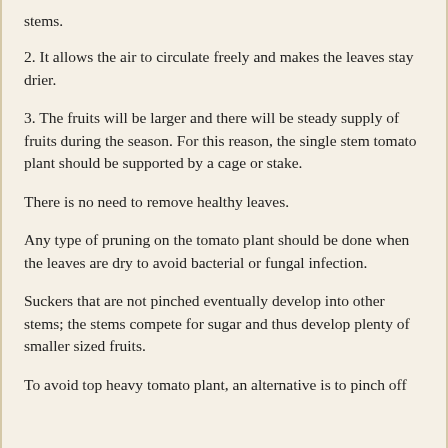stems.
2. It allows the air to circulate freely and makes the leaves stay drier.
3. The fruits will be larger and there will be steady supply of fruits during the season. For this reason, the single stem tomato plant should be supported by a cage or stake.
There is no need to remove healthy leaves.
Any type of pruning on the tomato plant should be done when the leaves are dry to avoid bacterial or fungal infection.
Suckers that are not pinched eventually develop into other stems; the stems compete for sugar and thus develop plenty of smaller sized fruits.
To avoid top heavy tomato plant, an alternative is to pinch off